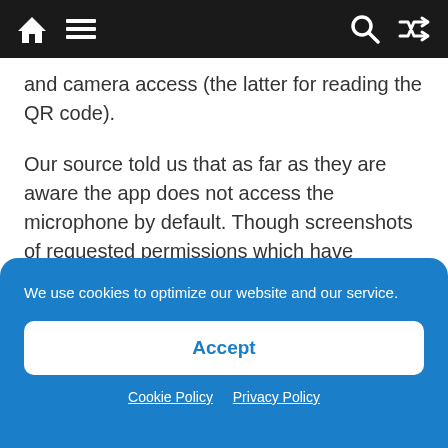[Navigation bar with home, menu, search, and shuffle icons]
and camera access (the latter for reading the QR code).
Our source told us that as far as they are aware the app does not access the microphone by default. Though screenshots of requested permissions which have circulated on social media show a toggle where microphone access seems as if it can be enabled.
We use cookies to optimize our website and our service.
Accept
Cookie Policy   Privacy Policy